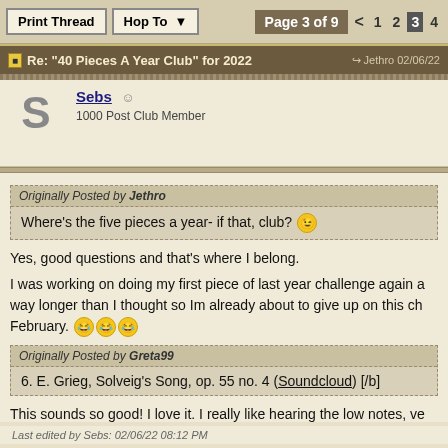Print Thread  Hop To  Page 3 of 9  < 1 2 3 4
Re: "40 Pieces A Year Club" for 2022  Jethro  02/06/22
Sebs  1000 Post Club Member
Originally Posted by Jethro
Where's the five pieces a year- if that, club?
Yes, good questions and that's where I belong.
I was working on doing my first piece of last year challenge again a way longer than I thought so Im already about to give up on this ch February.
Originally Posted by Greta99
6. E. Grieg, Solveig's Song, op. 55 no. 4 (Soundcloud) [/b]
This sounds so good! I love it. I really like hearing the low notes, ve
Last edited by Sebs: 02/06/22 08:12 PM